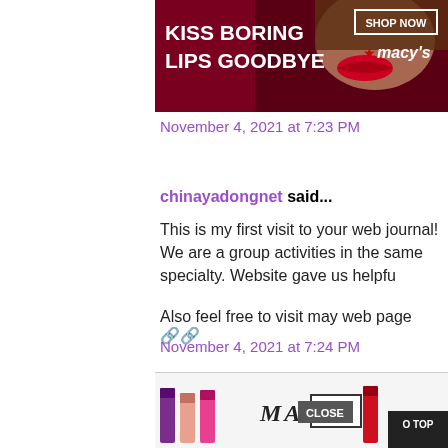[Figure (photo): Macy's advertisement banner: woman with red lips, 'KISS BORING LIPS GOODBYE', 'SHOP NOW' button, Macy's star logo]
November 4, 2021 at 7:23 PM
chinayadongnet said...
This is my first visit to your web journal! We are a group activities in the same specialty. Website gave us helpfu
Also feel free to visit may web page 🔗🔗
November 4, 2021 at 7:24 PM
□□□□□□□ said...
It is my first visit to your blog, and I am very impressed serve. Give adequate knowledge for m
[Figure (photo): MAC Cosmetics advertisement with lipsticks, SHOP NOW button, CLOSE button overlay, TO TOP button]